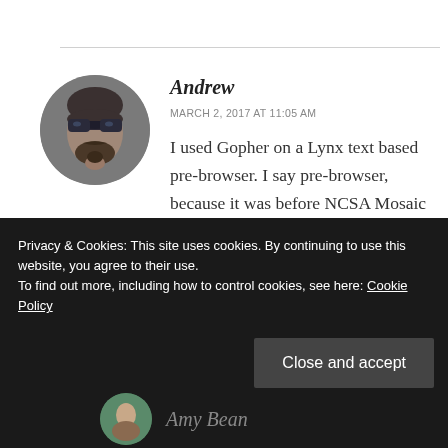[Figure (photo): Circular avatar photo of a man with sunglasses and a beard, gray-toned image]
Andrew
MARCH 2, 2017 AT 11:05 AM
I used Gopher on a Lynx text based pre-browser. I say pre-browser, because it was before NCSA Mosaic or Net“scrape” were even written.
Privacy & Cookies: This site uses cookies. By continuing to use this website, you agree to their use.
To find out more, including how to control cookies, see here: Cookie Policy
Close and accept